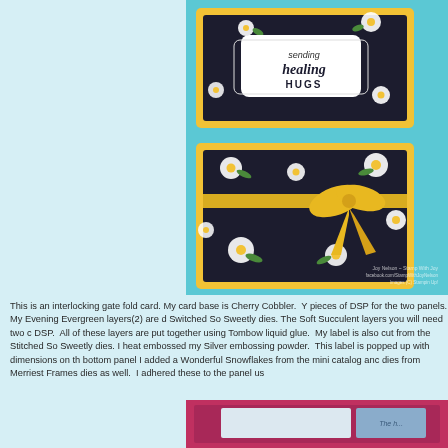[Figure (photo): Handmade interlocking gate fold card with teal/aqua base, yellow decorative frames with scalloped edges, dark navy/black patterned paper with white daisy flowers and green leaves, a yellow ribbon bow, and a white label badge reading 'sending healing HUGS'. Watermark text at bottom right reads 'Joy Nelson ~ Stamp With Joy, facebook.com/StampWithJoyNelson, Images (C) Stampin Up!'.]
This is an interlocking gate fold card. My card base is Cherry Cobbler.  Y pieces of DSP for the two panels. My Evening Evergreen layers(2) are d Switched So Sweetly dies. The Soft Succulent layers you will need two c DSP.  All of these layers are put together using Tombow liquid glue.  My label is also cut from the Stitched So Sweetly dies. I heat embossed my Silver embossing powder.  This label is popped up with dimensions on th bottom panel I added a Wonderful Snowflakes from the mini catalog anc dies from Merriest Frames dies as well.  I adhered these to the panel us
[Figure (photo): Partially visible handmade card with pink/cherry cobbler base, white strip panel and blue patterned strip.]